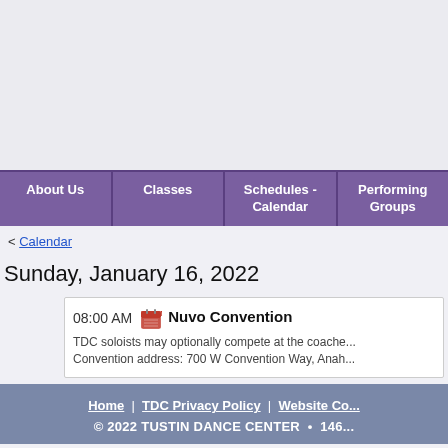[Figure (other): Top gray banner area of website]
About Us | Classes | Schedules - Calendar | Performing Groups
< Calendar
Sunday, January 16, 2022
08:00 AM  Nuvo Convention
TDC soloists may optionally compete at the coache... Convention address: 700 W Convention Way, Anah...
Home | TDC Privacy Policy | Website Co... © 2022 TUSTIN DANCE CENTER • 146...
Create a web page at CityMax.com